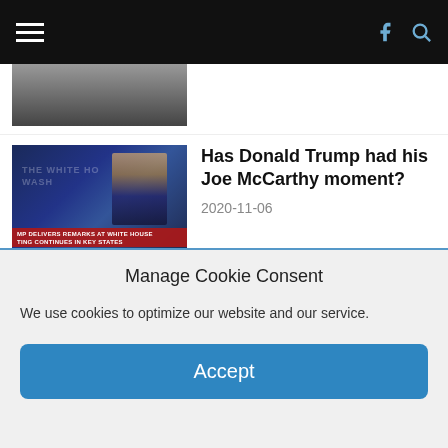Navigation header with hamburger menu, Facebook icon, and search icon
[Figure (photo): Partial photo at top of page, partially cropped, showing a person in dark clothing]
[Figure (screenshot): Trump at White House podium, NBC News broadcast showing election results. Banner reads 'TRUMP DELIVERS REMARKS AT WHITE HOUSE / VOTING CONTINUES IN KEY STATES'. Election bar shows Carolina, TRUMP 50.0% 2,732,128 vs BIDEN 43.5% 2,655,363]
Has Donald Trump had his Joe McCarthy moment?
2020-11-06
How QAnon uses satanic rhetoric to set up a narrative of 'good vs. evil'
2020-10-29
Manage Cookie Consent
We use cookies to optimize our website and our service.
Accept